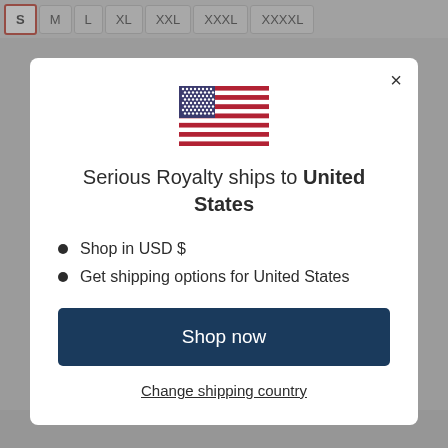[Figure (screenshot): E-commerce website background showing size selector tabs (S, M, L, XL, XXL, XXXL, XXXXL) with S selected, partially visible behind a modal overlay]
[Figure (illustration): United States flag emoji/icon displayed at center top of modal dialog]
Serious Royalty ships to United States
Shop in USD $
Get shipping options for United States
Shop now
Change shipping country